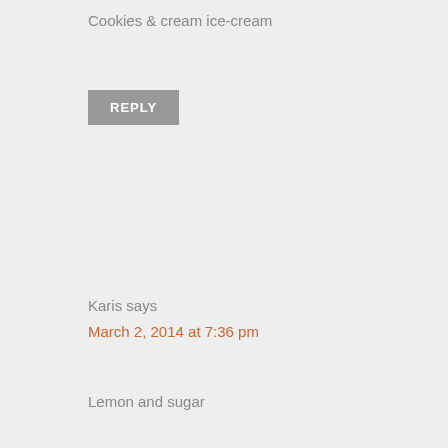Cookies & cream ice-cream
REPLY
Karis says
March 2, 2014 at 7:36 pm
Lemon and sugar
REPLY
Allison says
March 2, 2014 at 7:34 pm
Lemon, sugar and golden syrup!